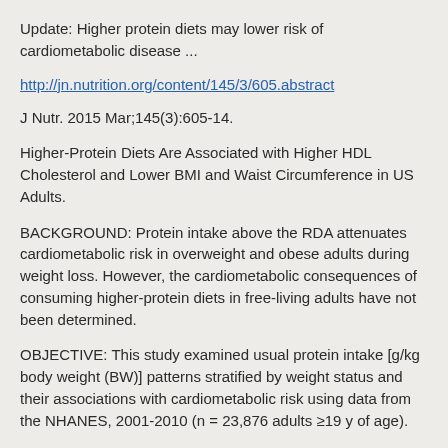Update: Higher protein diets may lower risk of cardiometabolic disease ...
http://jn.nutrition.org/content/145/3/605.abstract
J Nutr. 2015 Mar;145(3):605-14.
Higher-Protein Diets Are Associated with Higher HDL Cholesterol and Lower BMI and Waist Circumference in US Adults.
BACKGROUND: Protein intake above the RDA attenuates cardiometabolic risk in overweight and obese adults during weight loss. However, the cardiometabolic consequences of consuming higher-protein diets in free-living adults have not been determined.
OBJECTIVE: This study examined usual protein intake [g/kg body weight (BW)] patterns stratified by weight status and their associations with cardiometabolic risk using data from the NHANES, 2001-2010 (n = 23,876 adults ≥19 y of age).
METHODS: Linear and decile trends for association